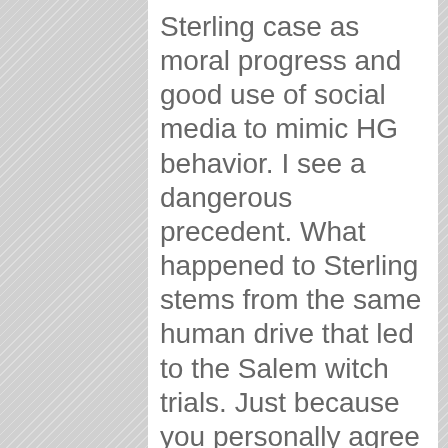Sterling case as moral progress and good use of social media to mimic HG behavior. I see a dangerous precedent. What happened to Sterling stems from the same human drive that led to the Salem witch trials. Just because you personally agree with the morals involved shouldn't blind you to the fact